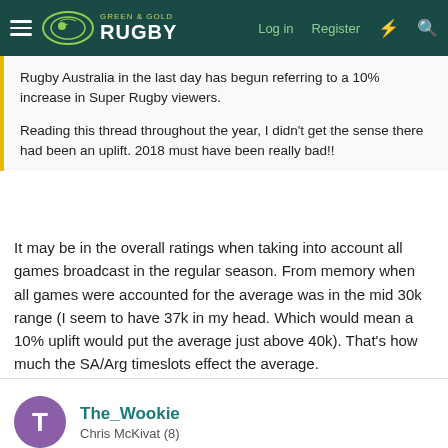Green & Gold Rugby — Log in  Register
Rugby Australia in the last day has begun referring to a 10% increase in Super Rugby viewers.

Reading this thread throughout the year, I didn't get the sense there had been an uplift. 2018 must have been really bad!!
It may be in the overall ratings when taking into account all games broadcast in the regular season. From memory when all games were accounted for the average was in the mid 30k range (I seem to have 37k in my head. Which would mean a 10% uplift would put the average just above 40k). That's how much the SA/Arg timeslots effect the average.
The_Wookie
Chris McKivat (8)